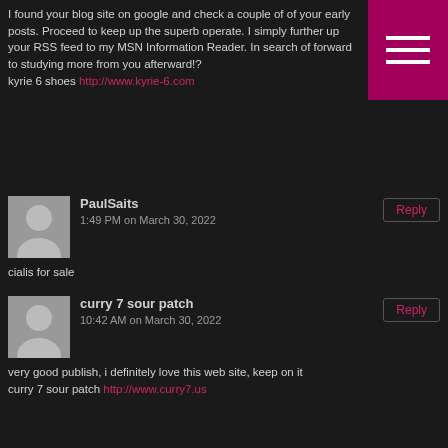I found your blog site on google and check a couple of of your early posts. Proceed to keep up the superb operate. I simply further up your RSS feed to my MSN Information Reader. In search of forward to studying more from you afterward!?
kyrie 6 shoes http://www.kyrie-6.com
PaulSaits
1:49 PM on March 30, 2022
cialis for sale
curry 7 sour patch
10:42 AM on March 30, 2022
very good publish, i definitely love this web site, keep on it
curry 7 sour patch http://www.curry7.us
UgoSaits
2:20 AM on March 30, 2022
cephalexin 1000 mg cost
lebron 16 shoes
8:28 PM on March 29, 2022